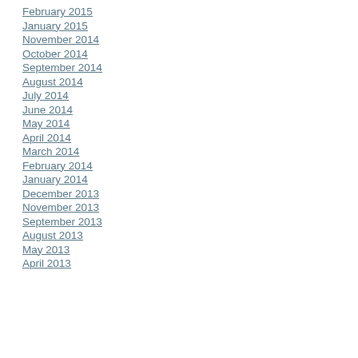February 2015
January 2015
November 2014
October 2014
September 2014
August 2014
July 2014
June 2014
May 2014
April 2014
March 2014
February 2014
January 2014
December 2013
November 2013
September 2013
August 2013
May 2013
April 2013